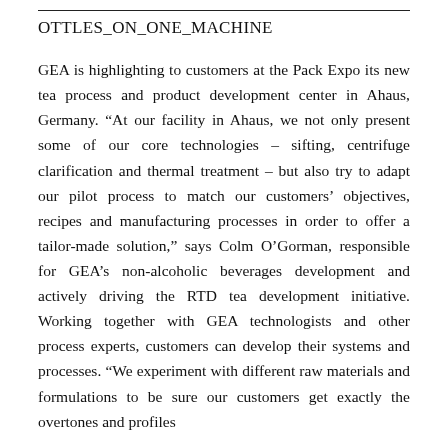OTTLES_ON_ONE_MACHINE
GEA is highlighting to customers at the Pack Expo its new tea process and product development center in Ahaus, Germany. “At our facility in Ahaus, we not only present some of our core technologies – sifting, centrifuge clarification and thermal treatment – but also try to adapt our pilot process to match our customers’ objectives, recipes and manufacturing processes in order to offer a tailor-made solution,” says Colm O’Gorman, responsible for GEA’s non-alcoholic beverages development and actively driving the RTD tea development initiative. Working together with GEA technologists and other process experts, customers can develop their systems and processes. “We experiment with different raw materials and formulations to be sure our customers get exactly the overtones and profiles